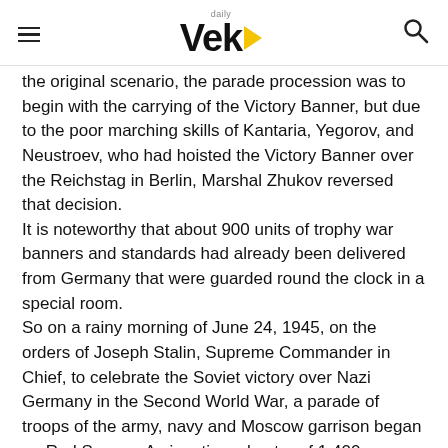daily Vek
the original scenario, the parade procession was to begin with the carrying of the Victory Banner, but due to the poor marching skills of Kantaria, Yegorov, and Neustroev, who had hoisted the Victory Banner over the Reichstag in Berlin, Marshal Zhukov reversed that decision.
It is noteworthy that about 900 units of trophy war banners and standards had already been delivered from Germany that were guarded round the clock in a special room.
So on a rainy morning of June 24, 1945, on the orders of Joseph Stalin, Supreme Commander in Chief, to celebrate the Soviet victory over Nazi Germany in the Second World War, a parade of troops of the army, navy and Moscow garrison began on Red Square. A gigantic orchestra of 1,400